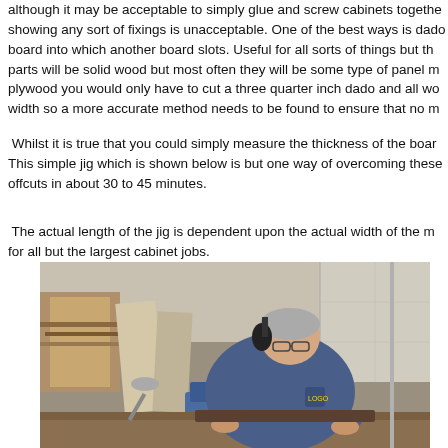although it may be acceptable to simply glue and screw cabinets together, showing any sort of fixings is unacceptable. One of the best ways is dado board into which another board slots. Useful for all sorts of things but the parts will be solid wood but most often they will be some type of panel m plywood you would only have to cut a three quarter inch dado and all wo width so a more accurate method needs to be found to ensure that no m
Whilst it is true that you could simply measure the thickness of the boar This simple jig which is shown below is but one way of overcoming these offcuts in about 30 to 45 minutes.
The actual length of the jig is dependent upon the actual width of the m for all but the largest cabinet jobs.
[Figure (photo): A person wearing hearing protection and glasses leaning over a workbench in a workshop, operating woodworking equipment. Workshop background with lumber and wood panels visible.]